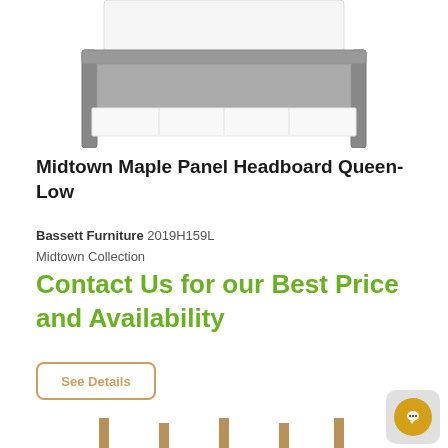[Figure (photo): Photo of a bed frame with gray upholstered base and white mattress with bed skirt, cropped to show lower portion]
Midtown Maple Panel Headboard Queen-Low
Bassett Furniture 2019H159L
Midtown Collection
Contact Us for our Best Price and Availability
See Details
[Figure (photo): Bottom portion of page showing furniture legs or posts, partially visible]